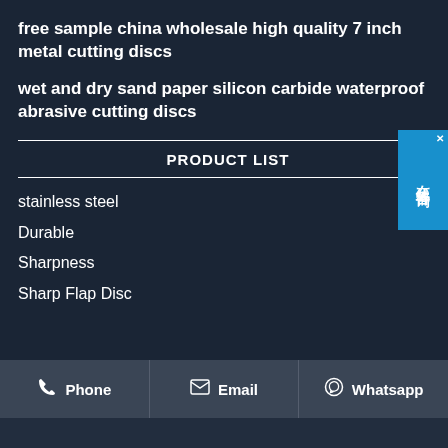free sample china wholesale high quality 7 inch metal cutting discs
wet and dry sand paper silicon carbide waterproof abrasive cutting discs
PRODUCT LIST
stainless steel
Durable
Sharpness
Sharp Flap Disc
Phone  Email  Whatsapp